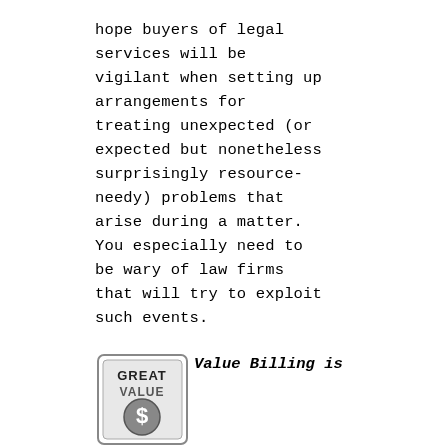hope buyers of legal services will be vigilant when setting up arrangements for treating unexpected (or expected but nonetheless surprisingly resource-needy) problems that arise during a matter. You especially need to be wary of law firms that will try to exploit such events.
[Figure (logo): Great Value logo with dollar sign, square badge style]
Value Billing is Not Always a Great Value: On April 21, 2005, in our posts ron baker: sensitive guy? and ron baker & price sensitivity, we tried to help the buyer of legal